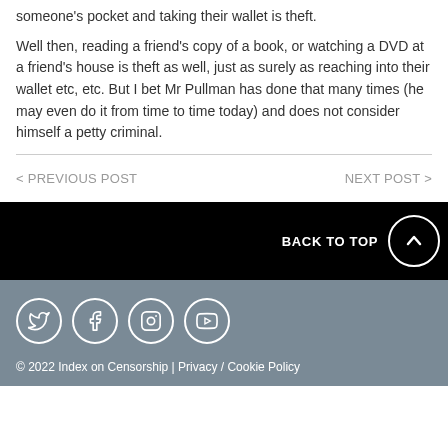someone's pocket and taking their wallet is theft.
Well then, reading a friend's copy of a book, or watching a DVD at a friend's house is theft as well, just as surely as reaching into their wallet etc, etc. But I bet Mr Pullman has done that many times (he may even do it from time to time today) and does not consider himself a petty criminal.
< PREVIOUS POST
NEXT POST >
BACK TO TOP
[Figure (other): Social media icons: Twitter, Facebook, Instagram, YouTube]
© 2022 Index on Censorship | Privacy / Cookie Policy